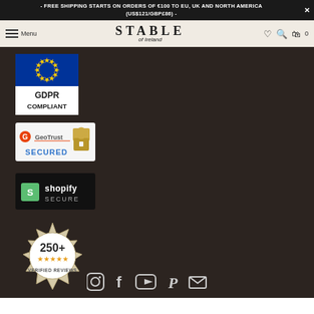- FREE SHIPPING STARTS ON ORDERS OF €100 TO EU, UK AND NORTH AMERICA (US$121/GBP£86) -
[Figure (screenshot): Stable of Ireland navigation bar with hamburger menu, logo, heart, search, and cart icons]
[Figure (logo): GDPR Compliant badge with EU stars on blue background]
[Figure (logo): GeoTrust Secured badge with padlock icon]
[Figure (logo): Shopify Secure badge with Shopify logo on dark background]
[Figure (logo): 250+ Verified Reviews badge with 5 stars]
[Figure (infographic): Social media icons: Instagram, Facebook, YouTube, Pinterest, Email]